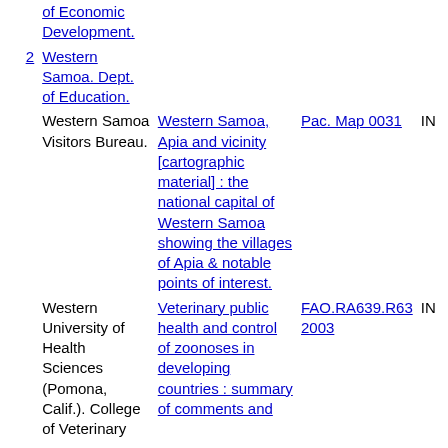| # | Author | Title | Call Number | Status |
| --- | --- | --- | --- | --- |
|  | Western Samoa. Dept. of Economic Development. |  |  |  |
| 2 | Western Samoa. Dept. of Education. |  |  |  |
|  | Western Samoa Visitors Bureau. | Western Samoa, Apia and vicinity [cartographic material] : the national capital of Western Samoa showing the villages of Apia & notable points of interest. | Pac. Map 0031 | IN |
|  | Western University of Health Sciences (Pomona, Calif.). College of Veterinary | Veterinary public health and control of zoonoses in developing countries : summary of comments and | FAO.RA639.R63 2003 | IN |